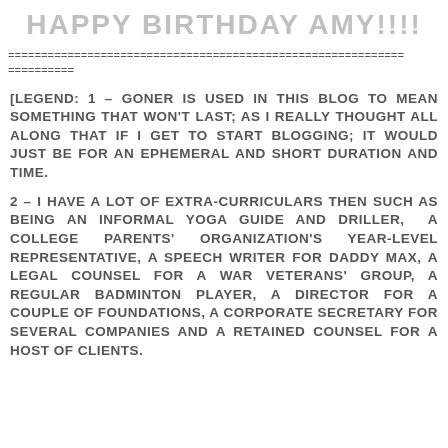HAPPY BIRTHDAY AMY!!!!
============================================================
==========
[LEGEND: 1 – GONER IS USED IN THIS BLOG TO MEAN SOMETHING THAT WON'T LAST; AS I REALLY THOUGHT ALL ALONG THAT IF I GET TO START BLOGGING; IT WOULD JUST BE FOR AN EPHEMERAL AND SHORT DURATION AND TIME.
2 – I HAVE A LOT OF EXTRA-CURRICULARS THEN SUCH AS BEING AN INFORMAL YOGA GUIDE AND DRILLER, A COLLEGE PARENTS' ORGANIZATION'S YEAR-LEVEL REPRESENTATIVE, A SPEECH WRITER FOR DADDY MAX, A LEGAL COUNSEL FOR A WAR VETERANS' GROUP, A REGULAR BADMINTON PLAYER, A DIRECTOR FOR A COUPLE OF FOUNDATIONS, A CORPORATE SECRETARY FOR SEVERAL COMPANIES AND A RETAINED COUNSEL FOR A HOST OF CLIENTS.